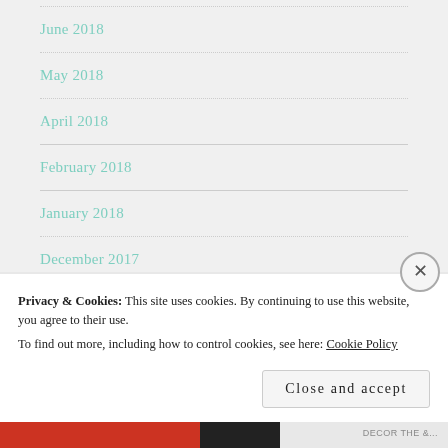June 2018
May 2018
April 2018
February 2018
January 2018
December 2017
November 2017
Privacy & Cookies: This site uses cookies. By continuing to use this website, you agree to their use.
To find out more, including how to control cookies, see here: Cookie Policy
Close and accept